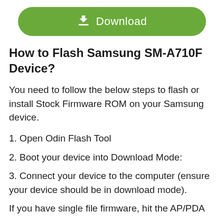[Figure (other): Green rounded download button with download icon and 'Download' text]
How to Flash Samsung SM-A710F Device?
You need to follow the below steps to flash or install Stock Firmware ROM on your Samsung device.
1. Open Odin Flash Tool
2. Boot your device into Download Mode:
3. Connect your device to the computer (ensure your device should be in download mode).
If you have single file firmware, hit the AP/PDA